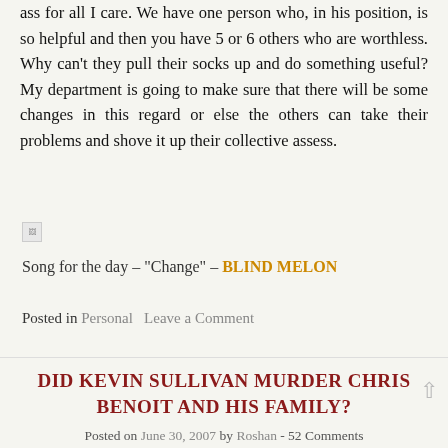ass for all I care. We have one person who, in his position, is so helpful and then you have 5 or 6 others who are worthless. Why can't they pull their socks up and do something useful? My department is going to make sure that there will be some changes in this regard or else the others can take their problems and shove it up their collective assess.
[Figure (other): Broken image placeholder icon]
Song for the day – "Change" – BLIND MELON
Posted in Personal   Leave a Comment
DID KEVIN SULLIVAN MURDER CHRIS BENOIT AND HIS FAMILY?
Posted on June 30, 2007 by Roshan - 52 Comments